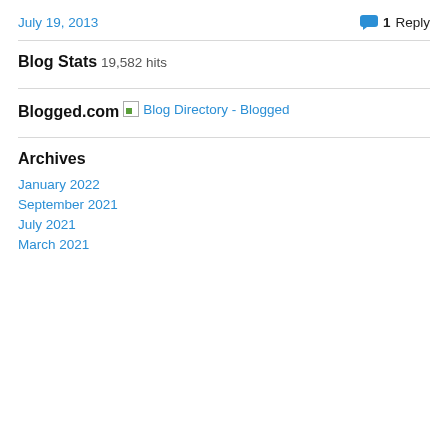July 19, 2013
1 Reply
Blog Stats
19,582 hits
Blogged.com
Blog Directory - Blogged
Archives
January 2022
September 2021
July 2021
March 2021